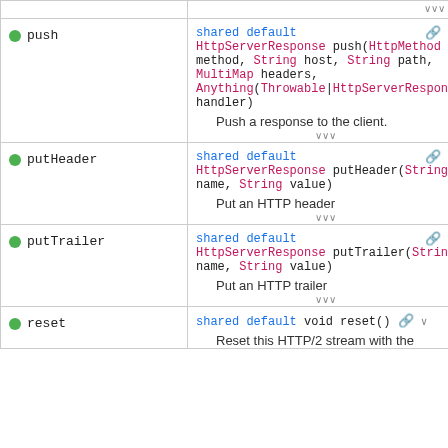| Method | Description |
| --- | --- |
| push | shared default
HttpServerResponse push(HttpMethod method, String host, String path, MultiMap headers, Anything(Throwable|HttpServerResponse) handler)
Push a response to the client. |
| putHeader | shared default
HttpServerResponse putHeader(String name, String value)
Put an HTTP header |
| putTrailer | shared default
HttpServerResponse putTrailer(String name, String value)
Put an HTTP trailer |
| reset | shared default void reset()
Reset this HTTP/2 stream with the |